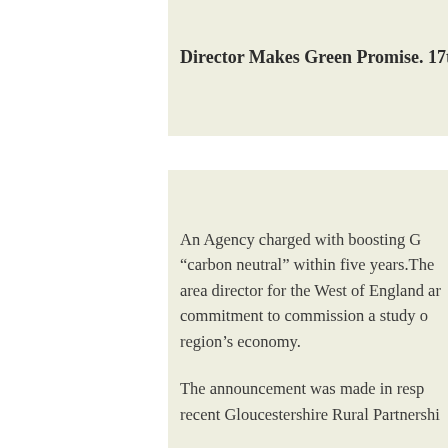Director Makes Green Promise. 17th
An Agency charged with boosting C… "carbon neutral" within five years. The area director for the West of England ar… commitment to commission a study o… region's economy.
The announcement was made in resp… recent Gloucestershire Rural Partnershi…
The keynote address to the event, at h…